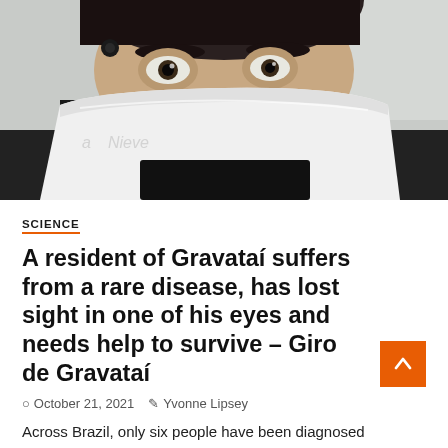[Figure (photo): Close-up selfie photo of a person wearing a white face mask (with 'Nieve' text visible) and a dark shirt, photographed from a low angle showing mostly eyes and forehead.]
SCIENCE
A resident of Gravataí suffers from a rare disease, has lost sight in one of his eyes and needs help to survive – Giro de Gravataí
October 21, 2021   Yvonne Lipsey
Across Brazil, only six people have been diagnosed